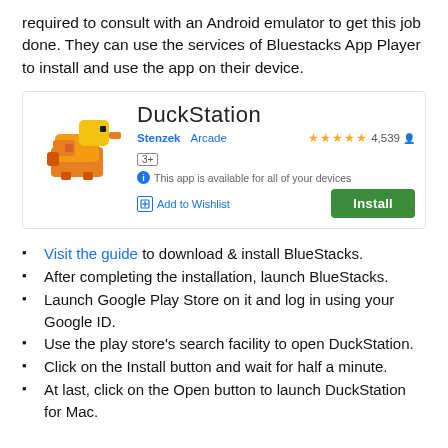required to consult with an Android emulator to get this job done. They can use the services of Bluestacks App Player to install and use the app on their device.
[Figure (screenshot): Google Play Store listing for DuckStation app showing duck icon, title, author Stenzek, category Arcade, 4,539 ratings, age rating 3+, availability message, Add to Wishlist button, and Install button.]
Visit the guide to download & install BlueStacks.
After completing the installation, launch BlueStacks.
Launch Google Play Store on it and log in using your Google ID.
Use the play store's search facility to open DuckStation.
Click on the Install button and wait for half a minute.
At last, click on the Open button to launch DuckStation for Mac.